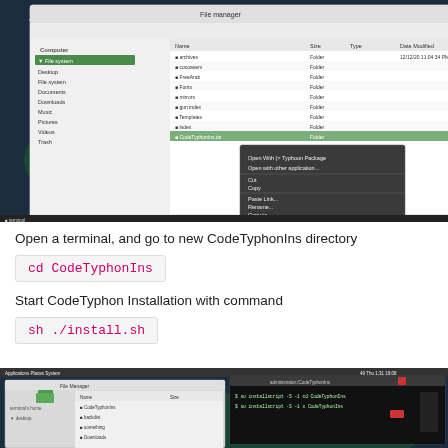[Figure (screenshot): Screenshot of a Linux file manager (Nautilus) showing a file browser with a right-click context menu open. The desktop background shows northern lights. The context menu has 'Archive name' highlighted in red/pink.]
Open a terminal, and go to new CodeTyphonIns directory
cd CodeTyphonIns
Start CodeTyphon Installation with command
sh ./install.sh
[Figure (screenshot): Screenshot of a Linux desktop showing a file manager and a terminal window with commands being run: 'cd CodeTyphonIns' and 'sh ./install.sh']